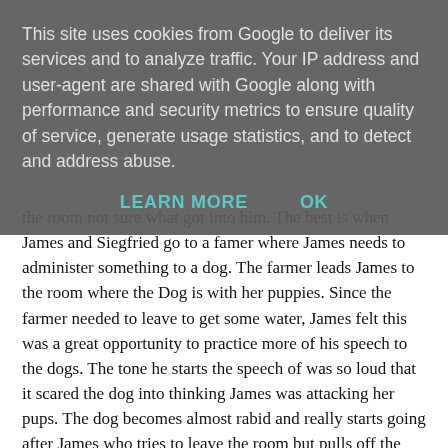This site uses cookies from Google to deliver its services and to analyze traffic. Your IP address and user-agent are shared with Google along with performance and security metrics to ensure quality of service, generate usage statistics, and to detect and address abuse.
LEARN MORE   OK
the room not sure what got into him. The best is when James and Siegfried go to a famer where James needs to administer something to a dog. The farmer leads James to the room where the Dog is with her puppies. Since the farmer needed to leave to get some water, James felt this was a great opportunity to practice more of his speech to the dogs. The tone he starts the speech of was so loud that it scared the dog into thinking James was attacking her pups. The dog becomes almost rabid and really starts going after James who tries to leave the room but pulls off the door handle and is locked into the room with the furious dog. Meanwhile, as you can hear the constant barking of the dog outside, the farmer passes by Siegfried who is having his lunch at the car waiting for James and offers the farmer a glass of wine. So while James is desperately trying to get away from the attacking